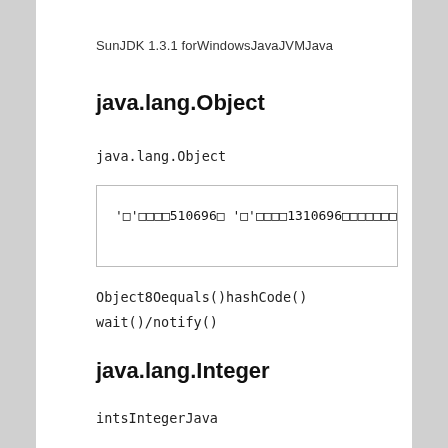SunJDK 1.3.1 forWindowsJavaJVMJava
java.lang.Object
java.lang.Object
'□'□□□□510696□  '□'□□□□1310696□□□□□□□80
Object8Oequals()hashCode()
wait()/notify()
java.lang.Integer
intsIntegerJava